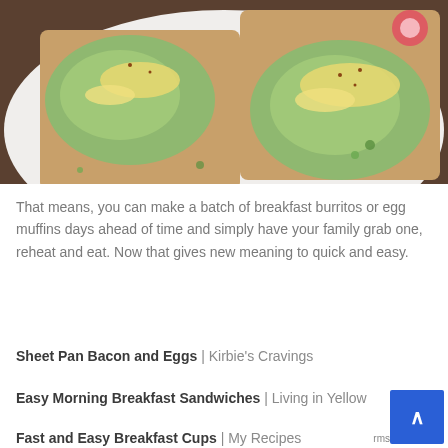[Figure (photo): Two slices of toast topped with mashed avocado and scrambled eggs on a white plate, garnished with cilantro and a radish slice]
That means, you can make a batch of breakfast burritos or egg muffins days ahead of time and simply have your family grab one, reheat and eat. Now that gives new meaning to quick and easy.
Sheet Pan Bacon and Eggs | Kirbie's Cravings
Easy Morning Breakfast Sandwiches | Living in Yellow
Fast and Easy Breakfast Cups | My Recipes